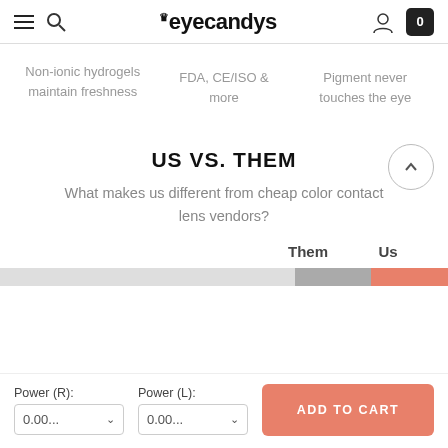eyecandys
Non-ionic hydrogels maintain freshness
FDA, CE/ISO & more
Pigment never touches the eye
US VS. THEM
What makes us different from cheap color contact lens vendors?
|  | Them | Us |
| --- | --- | --- |
|  |
Power (R):
Power (L):
ADD TO CART